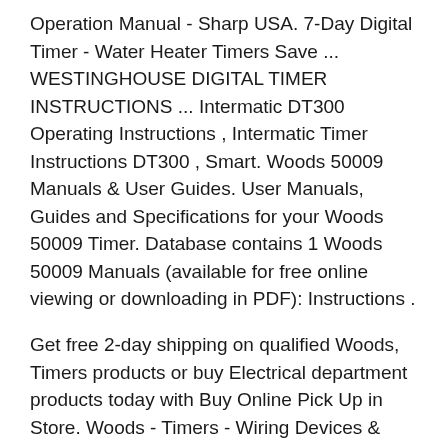Operation Manual - Sharp USA. 7-Day Digital Timer - Water Heater Timers Save ... WESTINGHOUSE DIGITAL TIMER INSTRUCTIONS ... Intermatic DT300 Operating Instructions , Intermatic Timer Instructions DT300 , Smart. Woods 50009 Manuals & User Guides. User Manuals, Guides and Specifications for your Woods 50009 Timer. Database contains 1 Woods 50009 Manuals (available for free online viewing or downloading in PDF): Instructions .
Get free 2-day shipping on qualified Woods, Timers products or buy Electrical department products today with Buy Online Pick Up in Store. Woods - Timers - Wiring Devices & Light Controls - The Home Depot woods™ alsek arctic™ down parka - explore winter-ready apparel & footwear